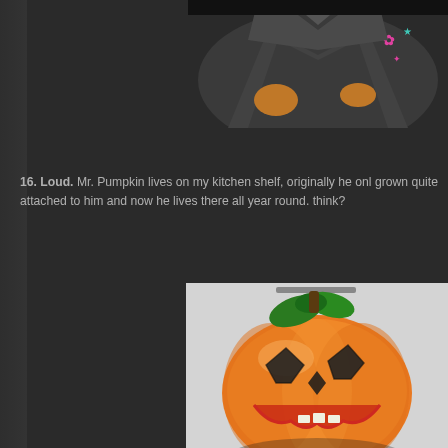[Figure (photo): Partial photo of a person wearing a dark gray hoodie with pink and teal graphic designs, sitting down. Only the torso and hands are visible against a dark background.]
16. Loud.  Mr. Pumpkin lives on my kitchen shelf, originally he onl… grown quite attached to him and now he lives there all year round.… think?
[Figure (photo): Photo of a ceramic jack-o'-lantern pumpkin decoration with orange glaze, green leaf details on top, and cut-out facial features (triangular eyes, nose, and a grinning mouth). Photographed against a light gray background.]